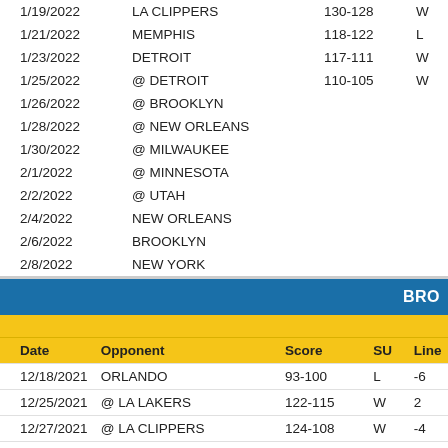| Date | Opponent | Score | SU | Line |
| --- | --- | --- | --- | --- |
| 1/19/2022 | LA CLIPPERS | 130-128 | W | -8.5 |
| 1/21/2022 | MEMPHIS | 118-122 | L | -3.5 |
| 1/23/2022 | DETROIT | 117-111 | W | -12 |
| 1/25/2022 | @ DETROIT | 110-105 | W | -7.5 |
| 1/26/2022 | @ BROOKLYN |  |  |  |
| 1/28/2022 | @ NEW ORLEANS |  |  |  |
| 1/30/2022 | @ MILWAUKEE |  |  |  |
| 2/1/2022 | @ MINNESOTA |  |  |  |
| 2/2/2022 | @ UTAH |  |  |  |
| 2/4/2022 | NEW ORLEANS |  |  |  |
| 2/6/2022 | BROOKLYN |  |  |  |
| 2/8/2022 | NEW YORK |  |  |  |
| 2/11/2022 | @ BOSTON |  |  |  |
BRO
| Date | Opponent | Score | SU | Line |
| --- | --- | --- | --- | --- |
| 12/18/2021 | ORLANDO | 93-100 | L | -6 |
| 12/25/2021 | @ LA LAKERS | 122-115 | W | 2 |
| 12/27/2021 | @ LA CLIPPERS | 124-108 | W | -4 |
| 12/30/2021 | PHILADELPHIA | 102-110 | L | -5 |